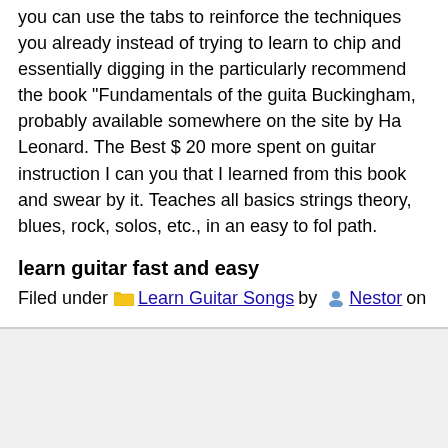you can use the tabs to reinforce the techniques you already instead of trying to learn to chip and essentially digging in the particularly recommend the book "Fundamentals of the guitar Buckingham, probably available somewhere on the site by Ha Leonard. The Best $ 20 more spent on guitar instruction I can you that I learned from this book and swear by it. Teaches all basics strings theory, blues, rock, solos, etc., in an easy to fol path.
learn guitar fast and easy
Filed under Learn Guitar Songs by Nestor on Apr 12th,